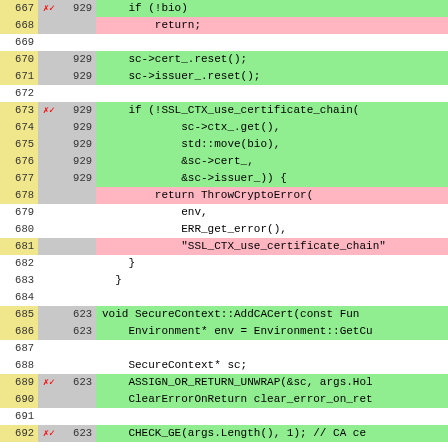[Figure (screenshot): Code diff viewer showing lines 667-692 of a C++ source file with line numbers, coverage markers (x/ in red), new line numbers, and code content. Green rows indicate new/covered lines, pink rows indicate removed/uncovered lines, white/gray rows are context or blank lines.]